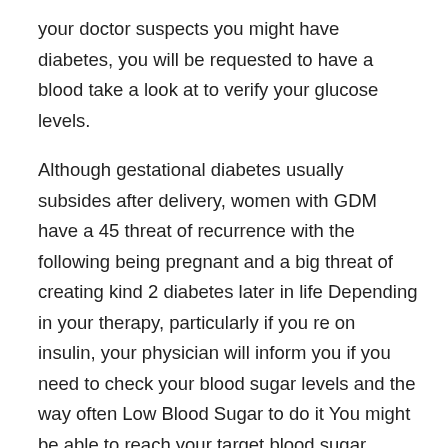your doctor suspects you might have diabetes, you will be requested to have a blood take a look at to verify your glucose levels.
Although gestational diabetes usually subsides after delivery, women with GDM have a 45 threat of recurrence with the following being pregnant and a big threat of creating kind 2 diabetes later in life Depending in your therapy, particularly if you re on insulin, your physician will inform you if you need to check your blood sugar levels and the way often Low Blood Sugar to do it You might be able to reach your target blood sugar ranges with food plan and exercise alone.